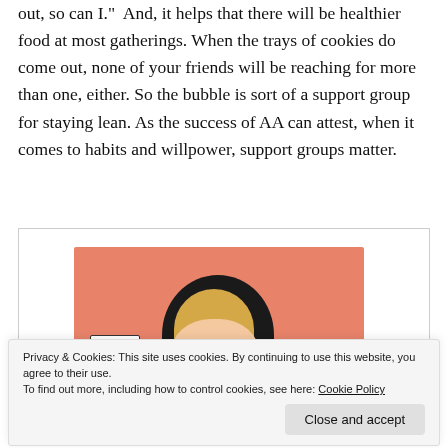out, so can I.”  And, it helps that there will be healthier food at most gatherings. When the trays of cookies do come out, none of your friends will be reaching for more than one, either. So the bubble is sort of a support group for staying lean. As the success of AA can attest, when it comes to habits and willpower, support groups matter.
[Figure (illustration): A comic-style illustration of a woman with dark hair with a salmon/coral pink background. A speech bubble in the lower left says 'You'd'.]
Privacy & Cookies: This site uses cookies. By continuing to use this website, you agree to their use.
To find out more, including how to control cookies, see here: Cookie Policy
Close and accept